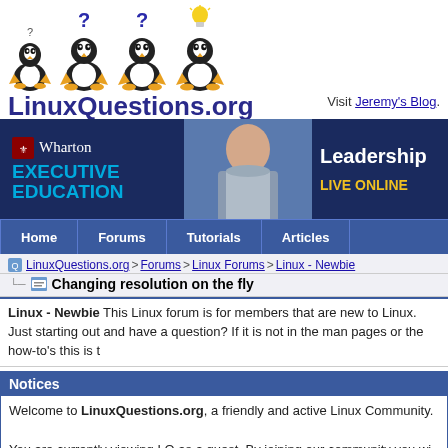[Figure (logo): LinuxQuestions.org logo with four Tux penguin characters with question marks and a lightbulb above them, and the text LinuxQuestions.org below]
Visit Jeremy's Blog.
[Figure (infographic): Wharton Executive Education banner advertisement showing Leadership LIVE ONLINE with a photo of a man in a suit]
| Home | Forums | Tutorials | Articles |
| --- | --- | --- | --- |
LinuxQuestions.org > Forums > Linux Forums > Linux - Newbie
Changing resolution on the fly
Linux - Newbie This Linux forum is for members that are new to Linux. Just starting out and have a question? If it is not in the man pages or the how-to's this is t
Notices
Welcome to LinuxQuestions.org, a friendly and active Linux Community.
You are currently viewing LQ as a guest. By joining our community you wi newsletter, use the advanced search, subscribe to threads and access ma simple and absolutely free. Join our community today!